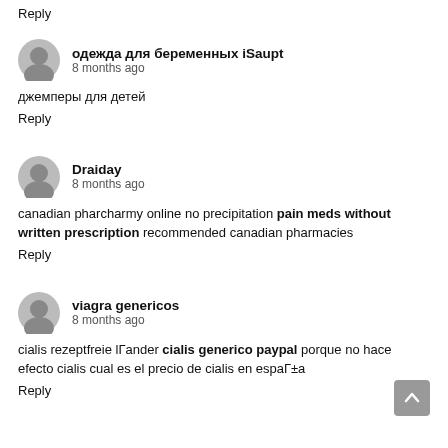Reply
одежда для беременных iSaupt
8 months ago
джемперы для детей
Reply
Draiday
8 months ago
canadian pharcharmy online no precipitation pain meds without written prescription recommended canadian pharmacies
Reply
viagra genericos
8 months ago
cialis rezeptfreie lГander cialis generico paypal porque no hace efecto cialis cual es el precio de cialis en espaГ±a
Reply